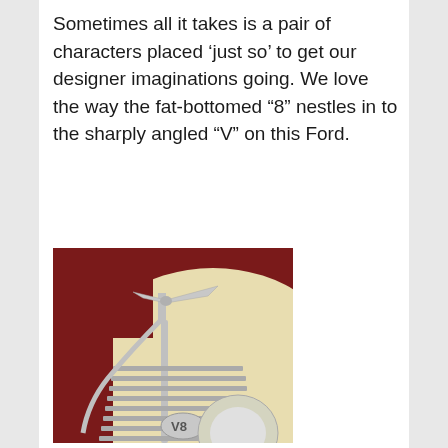Sometimes all it takes is a pair of characters placed ‘just so’ to get our designer imaginations going. We love the way the fat-bottomed “8” nestles in to the sharply angled “V” on this Ford.
[Figure (photo): Close-up photograph of a classic Ford automobile showing the hood ornament (a chrome flying figure), the cream/beige front fender, chrome grille with horizontal slats, and a partial view of the V8 badge on the grille. Dark red bodywork is visible in the upper background.]